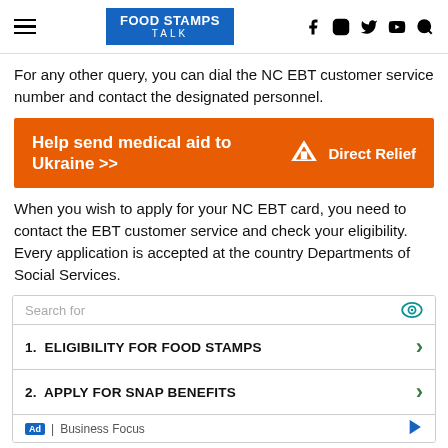FOOD STAMPS TALK | social icons: f, instagram, twitter, youtube, search
For any other query, you can dial the NC EBT customer service number and contact the designated personnel.
[Figure (infographic): Orange advertisement banner: 'Help send medical aid to Ukraine >>' with Direct Relief logo on the right]
When you wish to apply for your NC EBT card, you need to contact the EBT customer service and check your eligibility. Every application is accepted at the country Departments of Social Services.
[Figure (other): Search widget with 'Search for' header and two items: 1. ELIGIBILITY FOR FOOD STAMPS, 2. APPLY FOR SNAP BENEFITS, with Ad | Business Focus footer]